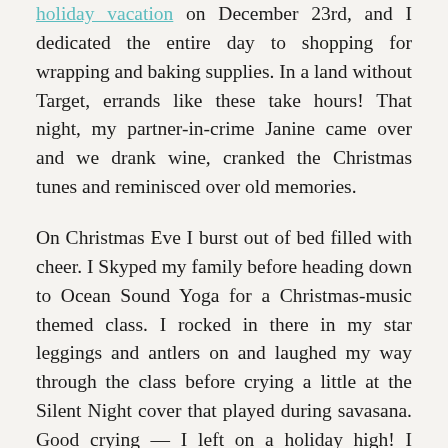holiday vacation on December 23rd, and I dedicated the entire day to shopping for wrapping and baking supplies. In a land without Target, errands like these take hours! That night, my partner-in-crime Janine came over and we drank wine, cranked the Christmas tunes and reminisced over old memories.

On Christmas Eve I burst out of bed filled with cheer. I Skyped my family before heading down to Ocean Sound Yoga for a Christmas-music themed class. I rocked in there in my star leggings and antlers on and laughed my way through the class before crying a little at the Silent Night cover that played during savasana. Good crying — I left on a holiday high! I arrived home to find a little elf — a little elf named Ian — had left a tiny Christmas